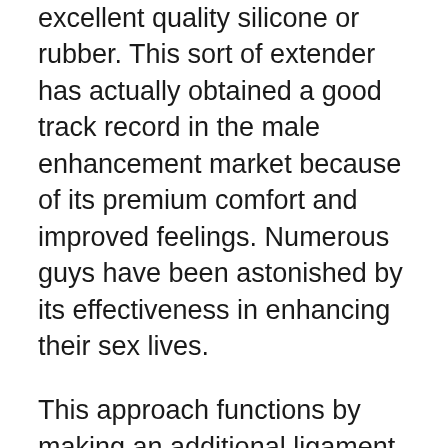excellent quality silicone or rubber. This sort of extender has actually obtained a good track record in the male enhancement market because of its premium comfort and improved feelings. Numerous guys have been astonished by its effectiveness in enhancing their sex lives.
This approach functions by making an additional ligament or cells known as the “dick thread” attach to the base of the shaft. The “prick thread” provides the penis much more assistance when it stretches better. To guarantee that the penis is stretched correctly, the penis should be strongly pressed against the stretched location. cock expansion is easy to use; it has an elastic sphere loop that links to the head of the